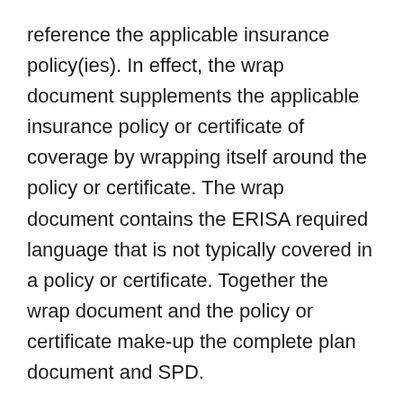reference the applicable insurance policy(ies). In effect, the wrap document supplements the applicable insurance policy or certificate of coverage by wrapping itself around the policy or certificate. The wrap document contains the ERISA required language that is not typically covered in a policy or certificate. Together the wrap document and the policy or certificate make-up the complete plan document and SPD.
Done properly, wrap documents can also reduce administrative time and costs caused by preparing and filing a yearly Form 5500 for each welfare plan sponsored by an employer. A